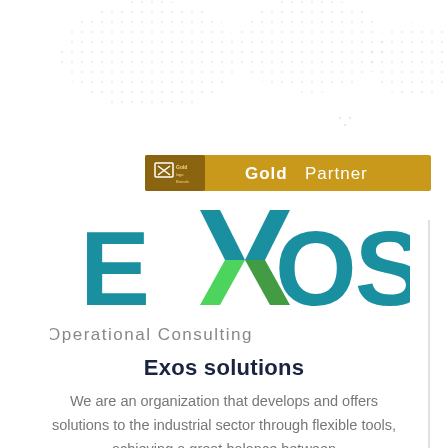[Figure (illustration): World map dot pattern background at top of page]
[Figure (logo): Gold Partner badge banner with logo icon on left and 'Gold Partner' text]
[Figure (logo): EXOS Operational Consulting logo - teal letters E, X (with green chevron), O, S and grey subtitle 'Operational Consulting']
Exos solutions
We are an organization that develops and offers solutions to the industrial sector through flexible tools, achieving a great balance between